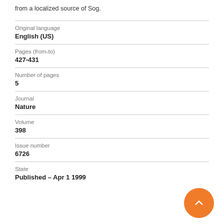from a localized source of Sog.
| Original language | English (US) |
| Pages (from-to) | 427-431 |
| Number of pages | 5 |
| Journal | Nature |
| Volume | 398 |
| Issue number | 6726 |
| State | Published – Apr 1 1999 |